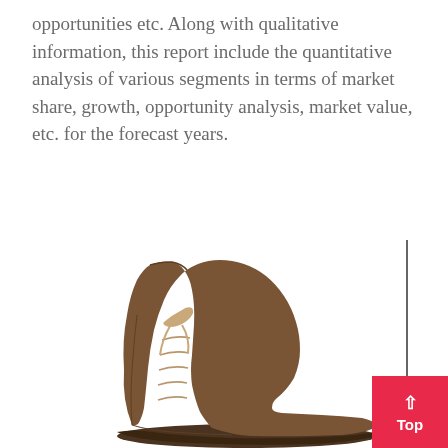opportunities etc. Along with qualitative information, this report include the quantitative analysis of various segments in terms of market share, growth, opportunity analysis, market value, etc. for the forecast years.
[Figure (photo): A brown leather lace-up military/combat boot photographed against a white background, with a vertical dark dividing line to the right of the image.]